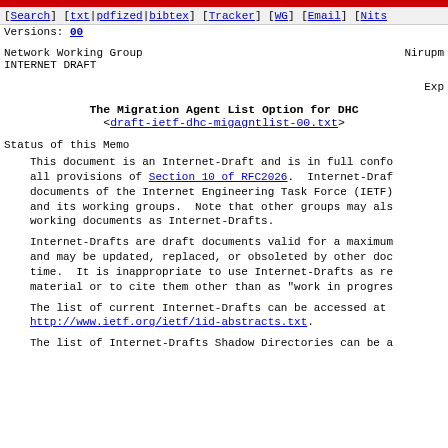[Search] [txt|pdfized|bibtex] [Tracker] [WG] [Email] [Nits Versions: 00
Network Working Group                                          Nirupm
INTERNET DRAFT
Exp
The Migration Agent List Option for DHC
<draft-ietf-dhc-migagntlist-00.txt>
Status of this Memo
This document is an Internet-Draft and is in full confo all provisions of Section 10 of RFC2026.  Internet-Draf documents of the Internet Engineering Task Force (IETF) and its working groups.  Note that other groups may als working documents as Internet-Drafts.
Internet-Drafts are draft documents valid for a maximum and may be updated, replaced, or obsoleted by other doc time.  It is inappropriate to use Internet-Drafts as re material or to cite them other than as "work in progres
The list of current Internet-Drafts can be accessed at http://www.ietf.org/ietf/1id-abstracts.txt.
The list of Internet-Drafts Shadow Directories can be a